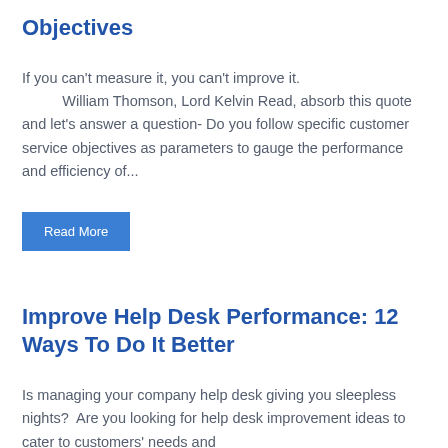Objectives
If you can't measure it, you can't improve it.
          William Thomson, Lord Kelvin Read, absorb this quote and let's answer a question- Do you follow specific customer service objectives as parameters to gauge the performance and efficiency of...
Read More
Improve Help Desk Performance: 12 Ways To Do It Better
Is managing your company help desk giving you sleepless nights?  Are you looking for help desk improvement ideas to cater to customers' needs and